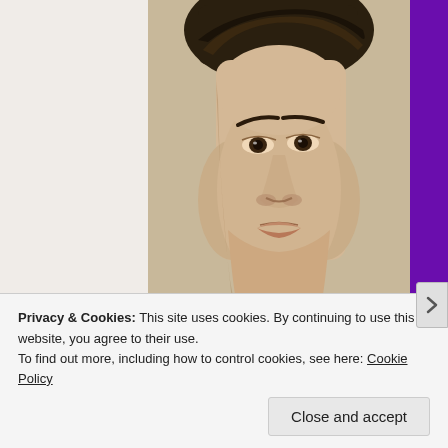[Figure (photo): Sepia-toned close-up portrait of a young Asian man looking at the camera, with a yellow-green book title bar at the bottom partially showing 'BLACK COAT' or similar text. The image appears to be a book cover. Purple sidebar margins on the left and right edges of the page.]
Privacy & Cookies: This site uses cookies. By continuing to use this website, you agree to their use.
To find out more, including how to control cookies, see here: Cookie Policy
Close and accept